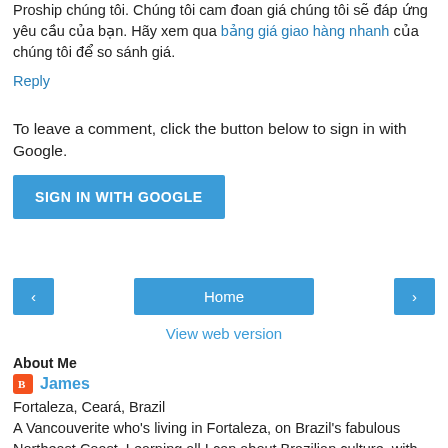Proship chúng tôi. Chúng tôi cam đoan giá chúng tôi sẽ đáp ứng yêu cầu của bạn. Hãy xem qua bảng giá giao hàng nhanh của chúng tôi để so sánh giá.
Reply
To leave a comment, click the button below to sign in with Google.
SIGN IN WITH GOOGLE
[Figure (other): Navigation bar with left arrow button, Home button, and right arrow button]
View web version
About Me
James
Fortaleza, Ceará, Brazil
A Vancouverite who's living in Fortaleza, on Brazil's fabulous Northeast Coast. Learning all I can about Brazilian culture, with emphasis on the rich culinary traditions of Brazil